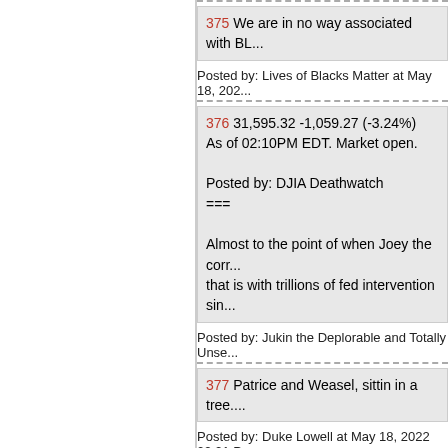375 We are in no way associated with BL...
Posted by: Lives of Blacks Matter at May 18, 202...
376 31,595.32 -1,059.27 (-3.24%)
As of 02:10PM EDT. Market open.

Posted by: DJIA Deathwatch
===

Almost to the point of when Joey the cor...
that is with trillions of fed intervention sin...
Posted by: Jukin the Deplorable and Totally Unse...
377 Patrice and Weasel, sittin in a tree....
Posted by: Duke Lowell at May 18, 2022 02:21 P...
378 335 313 "Baby Daddy" is a term that...
from whence it came. I absolutely despise...